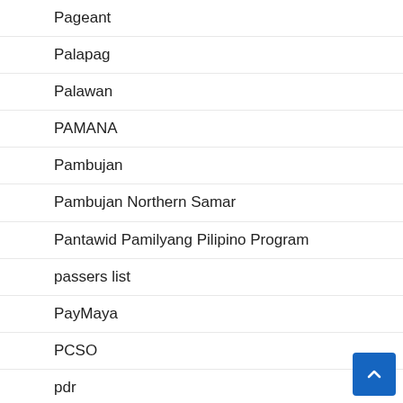Pageant
Palapag
Palawan
PAMANA
Pambujan
Pambujan Northern Samar
Pantawid Pamilyang Pilipino Program
passers list
PayMaya
PCSO
pdr
PhilHealth
Philippine Coast Guard